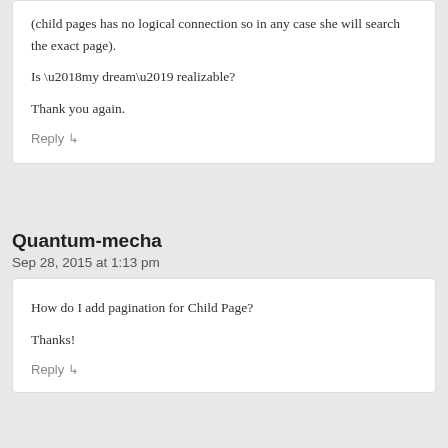(child pages has no logical connection so in any case she will search the exact page).
Is ‘my dream’ realizable?
Thank you again.
Reply
Quantum-mecha
Sep 28, 2015 at 1:13 pm
How do I add pagination for Child Page?
Thanks!
Reply